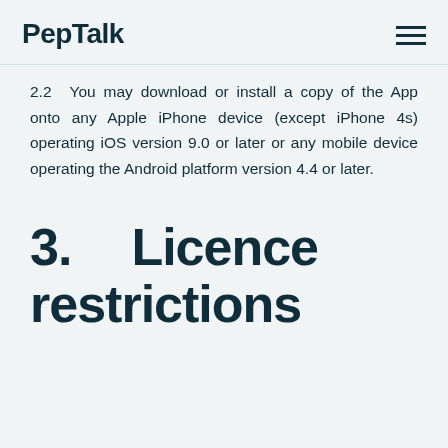PepTalk
2.2    You may download or install a copy of the App onto any Apple iPhone device (except iPhone 4s) operating iOS version 9.0 or later or any mobile device operating the Android platform version 4.4 or later.
3.          Licence restrictions